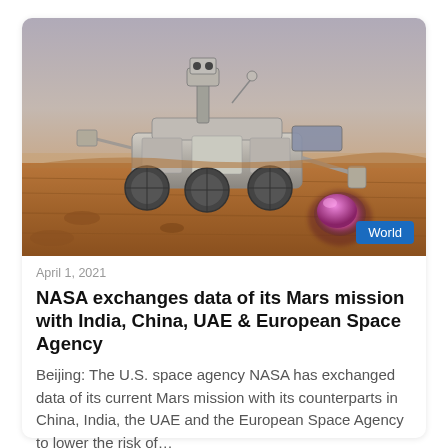[Figure (photo): A Mars rover (NASA Perseverance-style) on the Martian surface with rocky terrain and a glowing purple/pink rock in the foreground. A 'World' category badge appears in the lower right of the image.]
April 1, 2021
NASA exchanges data of its Mars mission with India, China, UAE & European Space Agency
Beijing: The U.S. space agency NASA has exchanged data of its current Mars mission with its counterparts in China, India, the UAE and the European Space Agency to lower the risk of…